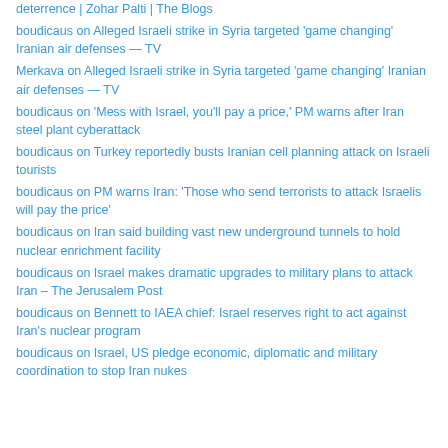deterrence | Zohar Palti | The Blogs
boudicaus on Alleged Israeli strike in Syria targeted 'game changing' Iranian air defenses — TV
Merkava on Alleged Israeli strike in Syria targeted 'game changing' Iranian air defenses — TV
boudicaus on 'Mess with Israel, you'll pay a price,' PM warns after Iran steel plant cyberattack
boudicaus on Turkey reportedly busts Iranian cell planning attack on Israeli tourists
boudicaus on PM warns Iran: 'Those who send terrorists to attack Israelis will pay the price'
boudicaus on Iran said building vast new underground tunnels to hold nuclear enrichment facility
boudicaus on Israel makes dramatic upgrades to military plans to attack Iran – The Jerusalem Post
boudicaus on Bennett to IAEA chief: Israel reserves right to act against Iran's nuclear program
boudicaus on Israel, US pledge economic, diplomatic and military coordination to stop Iran nukes